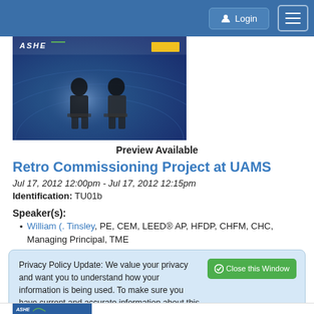Login  ☰
[Figure (photo): Two men seated on stage in front of ASHE branded backdrop at a conference]
Preview Available
Retro Commissioning Project at UAMS
Jul 17, 2012 12:00pm - Jul 17, 2012 12:15pm
Identification: TU01b
Speaker(s):
William (. Tinsley, PE, CEM, LEED® AP, HFDP, CHFM, CHC, Managing Principal, TME
Privacy Policy Update: We value your privacy and want you to understand how your information is being used. To make sure you have current and accurate information about this sites privacy practices please visit the privacy center by clicking here.